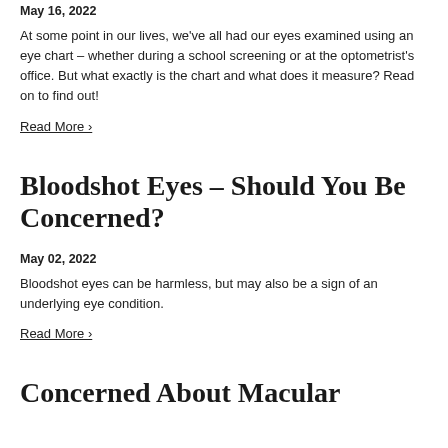May 16, 2022
At some point in our lives, we've all had our eyes examined using an eye chart – whether during a school screening or at the optometrist's office. But what exactly is the chart and what does it measure? Read on to find out!
Read More ›
Bloodshot Eyes – Should You Be Concerned?
May 02, 2022
Bloodshot eyes can be harmless, but may also be a sign of an underlying eye condition.
Read More ›
Concerned About Macular